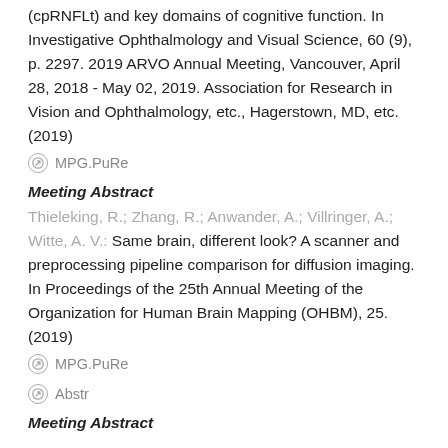(cpRNFLt) and key domains of cognitive function. In Investigative Ophthalmology and Visual Science, 60 (9), p. 2297. 2019 ARVO Annual Meeting, Vancouver, April 28, 2018 - May 02, 2019. Association for Research in Vision and Ophthalmology, etc., Hagerstown, MD, etc. (2019)
⊗ MPG.PuRe
Meeting Abstract
Thieleking, R.; Zhang, R.; Anwander, A.; Villringer, A.; Witte, A. V.: Same brain, different look? A scanner and preprocessing pipeline comparison for diffusion imaging. In Proceedings of the 25th Annual Meeting of the Organization for Human Brain Mapping (OHBM), 25. (2019)
⊗ MPG.PuRe
⊗ Abstr
Meeting Abstract